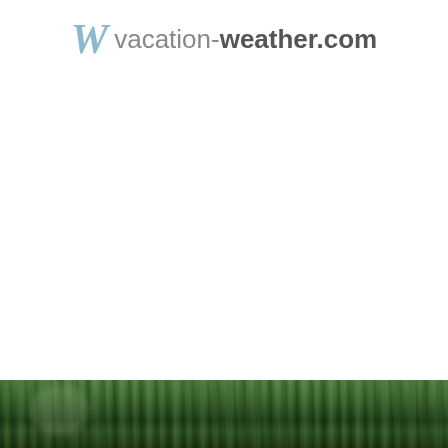vacation-weather.com
[Figure (photo): A strip photograph at the bottom of the page showing a dense forest or jungle scene with green foliage and trees.]